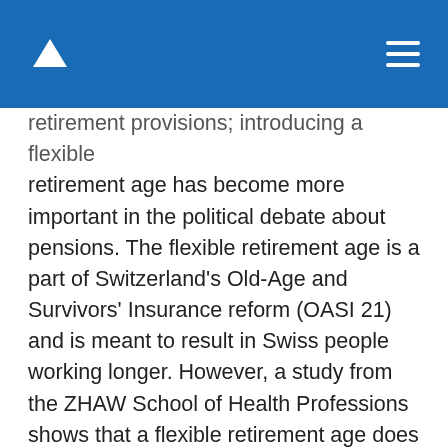[navigation header with up arrow and hamburger menu]
retirement provisions; introducing a flexible retirement age has become more important in the political debate about pensions. The flexible retirement age is a part of Switzerland's Old-Age and Survivors' Insurance reform (OASI 21) and is meant to result in Swiss people working longer. However, a study from the ZHAW School of Health Professions shows that a flexible retirement age does not automatically have the expected effect. “People won't necessarily extend their working lives,” says Isabel Baumann, who heads the study. She analysed how the transition to retirement tends to occur in four countries with flexible retirement policies. The outcome of the study revealed that almost two-thirds of the